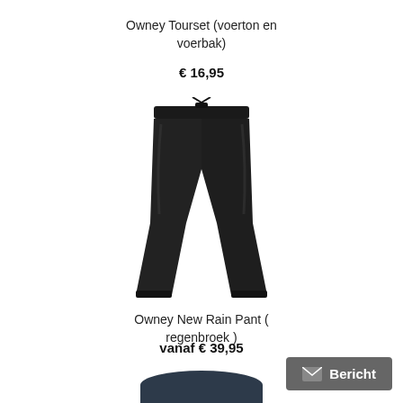Owney Tourset (voerton en voerbak)
€ 16,95
[Figure (photo): Black rain pants (regenbroek) by Owney, shown flat against white background]
Owney New Rain Pant ( regenbroek )
vanaf € 39,95
[Figure (photo): Owney branded cylindrical bag/cooler bag in dark navy with orange Owney logo, shown partially at bottom of page]
Bericht